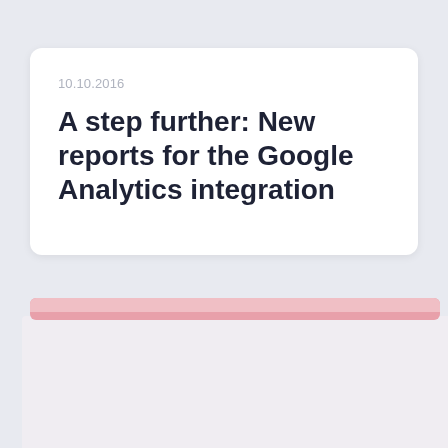10.10.2016
A step further: New reports for the Google Analytics integration